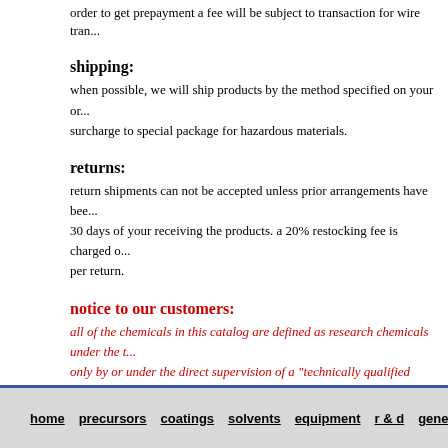order to get prepayment a fee will be subject to transaction for wire tran...
shipping:
when possible, we will ship products by the method specified on your or... surcharge to special package for hazardous materials.
returns:
return shipments can not be accepted unless prior arrangements have bee... 30 days of your receiving the products. a 20% restocking fee is charged... per return.
notice to our customers:
all of the chemicals in this catalog are defined as research chemicals under the... only by or under the direct supervision of a "technically qualified individual". th... have not been fully investigated since these chemicals are for research use only... assumes no liability for injuries; damage or penalties resulting from their use, si... our control. suggestions and recommendations for their use are not to be taken a...
home  precursors  coatings  solvents  equipment  r & d  general info  contacts